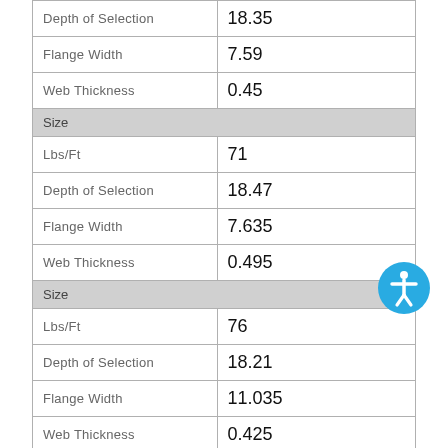| Depth of Selection | 18.35 |
| Flange Width | 7.59 |
| Web Thickness | 0.45 |
| Size |  |
| Lbs/Ft | 71 |
| Depth of Selection | 18.47 |
| Flange Width | 7.635 |
| Web Thickness | 0.495 |
| Size |  |
| Lbs/Ft | 76 |
| Depth of Selection | 18.21 |
| Flange Width | 11.035 |
| Web Thickness | 0.425 |
| Size |  |
| Lbs/Ft | 86 |